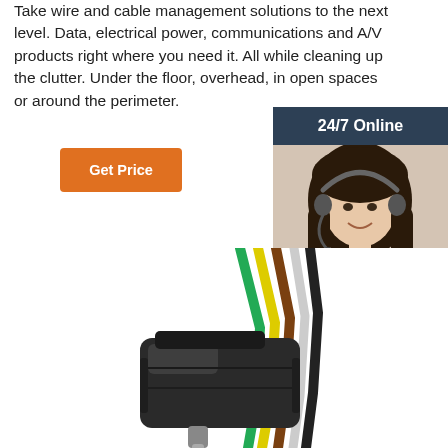Take wire and cable management solutions to the next level. Data, electrical power, communications and A/V products right where you need it. All while cleaning up the clutter. Under the floor, overhead, in open spaces or around the perimeter.
[Figure (other): Orange 'Get Price' button with rounded corners]
[Figure (other): Sidebar panel with dark blue background showing '24/7 Online' header, photo of a smiling woman with headset, text 'Click here for free chat!' and an orange QUOTATION button]
[Figure (photo): Close-up photo of a multi-wire electrical cable connector/plug with green, yellow, brown, and other colored wires]